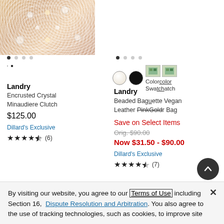[Figure (photo): Encrusted crystal beaded clutch bag, gold/rose tone, top partial view]
• • • •
[Figure (photo): Color swatches: gold metallic and ivory/cream circle swatches]
Landry
Encrusted Crystal Minaudiere Clutch
$125.00
Dillard's Exclusive
★★★★½ (6)
• • • •
[Figure (photo): Color swatches and color swatch images for right product]
Landry
Beaded Baguette Vegan Leather Shoulder Bag
Save on Select Items
Orig. $90.00
Now $31.50 - $90.00
Dillard's Exclusive
★★★★½ (7)
By visiting our website, you agree to our Terms of Use including Section 16, Dispute Resolution and Arbitration. You also agree to the use of tracking technologies, such as cookies, to improve site